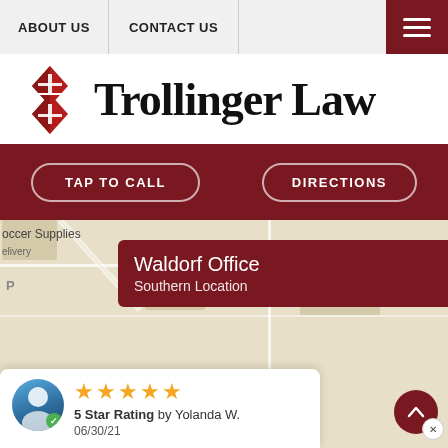ABOUT US | CONTACT US
[Figure (logo): Trollinger Law logo with red diamond/arrow geometric mark and serif text]
TAP TO CALL   DIRECTIONS
[Figure (screenshot): Google Maps screenshot showing Waldorf Office Southern Location popup, with partial map view showing soccer supplies, Domino's Pizza, Washington labels]
Waldorf Office
Southern Location
5 Star Rating by Yolanda W.
06/30/21